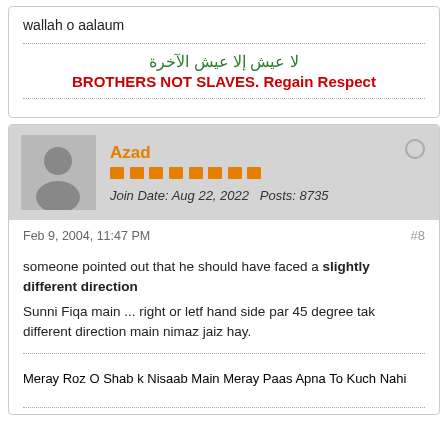wallah o aalaum
لا عيش إلا عيش الآخرة
BROTHERS NOT SLAVES. Regain Respect
Azad
Join Date: Aug 22, 2022    Posts: 8735
Feb 9, 2004, 11:47 PM
#8
someone pointed out that he should have faced a slightly different direction
Sunni Fiqa main ... right or letf hand side par 45 degree tak different direction main nimaz jaiz hay.
Meray Roz O Shab k Nisaab Main Meray Paas Apna To Kuch Nahi